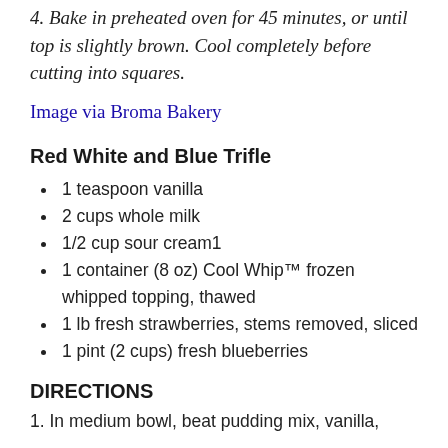4. Bake in preheated oven for 45 minutes, or until top is slightly brown. Cool completely before cutting into squares.
Image via Broma Bakery
Red White and Blue Trifle
1 teaspoon vanilla
2 cups whole milk
1/2 cup sour cream1
1 container (8 oz) Cool Whip™ frozen whipped topping, thawed
1 lb fresh strawberries, stems removed, sliced
1 pint (2 cups) fresh blueberries
DIRECTIONS
1. In medium bowl, beat pudding mix, vanilla,